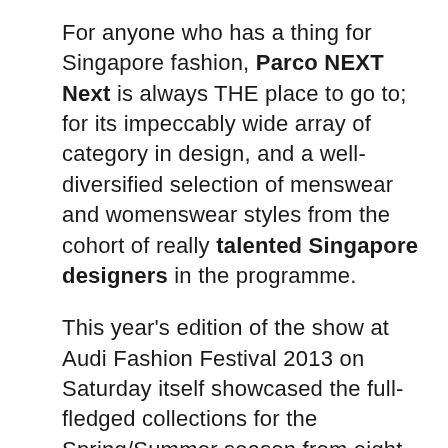For anyone who has a thing for Singapore fashion, Parco NEXT Next is always THE place to go to; for its impeccably wide array of category in design, and a well-diversified selection of menswear and womenswear styles from the cohort of really talented Singapore designers in the programme.
This year's edition of the show at Audi Fashion Festival 2013 on Saturday itself showcased the full-fledged collections for the Spring/Summer season from eight designers, namely Revasseur, Kae Hana, Mash-Up, WSDM, Evenodd, Lion Earl, 20:TwoThree, and alumni designer Coupe Cousu. It was in its entirety, nothing short of fantastic and